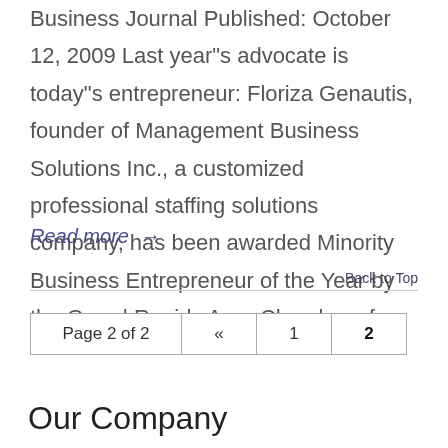Business Journal Published: October 12, 2009 Last year"s advocate is today"s entrepreneur: Floriza Genautis, founder of Management Business Solutions Inc., a customized professional staffing solutions company, has been awarded Minority Business Entrepreneur of the Year by the Grand Rapids Area Chamber of
Read more →
Back to Top
Page 2 of 2  «  1  2
Our Company